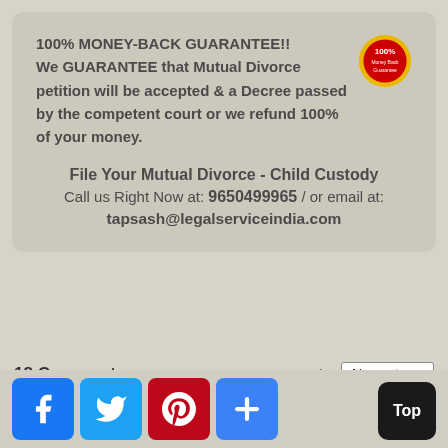100% MONEY-BACK GUARANTEE!! We GUARANTEE that Mutual Divorce petition will be accepted & a Decree passed by the competent court or we refund 100% of your money.
File Your Mutual Divorce - Child Custody
Call us Right Now at: 9650499965 / or email at: tapsash@legalserviceindia.com
18 Comments
Sort by Newest
[Figure (infographic): Social sharing buttons: Facebook, Twitter, Pinterest, and a plus/share button. Also a 'Top' button in the bottom right corner.]